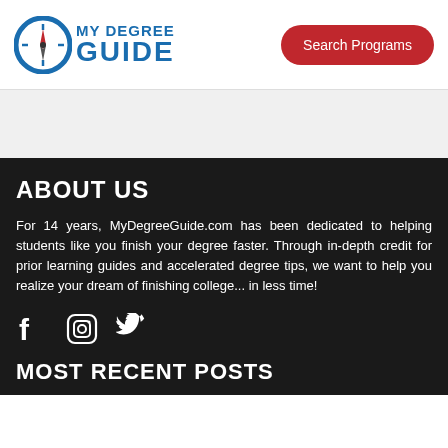[Figure (logo): MyDegreeGuide logo with compass icon and blue text reading MY DEGREE GUIDE]
Search Programs
ABOUT US
For 14 years, MyDegreeGuide.com has been dedicated to helping students like you finish your degree faster. Through in-depth credit for prior learning guides and accelerated degree tips, we want to help you realize your dream of finishing college... in less time!
[Figure (illustration): Social media icons: Facebook, Instagram, Twitter]
MOST RECENT POSTS